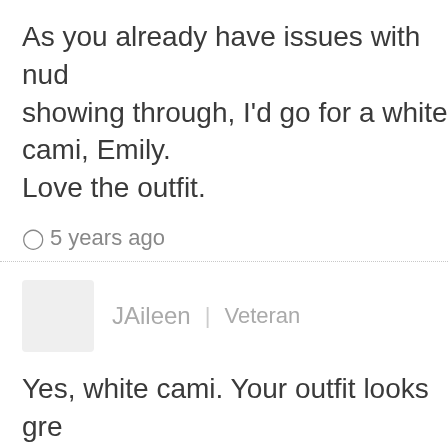As you already have issues with nud showing through, I'd go for a white cami, Emily. Love the outfit.
🕐 5 years ago
JAileen | Veteran
Yes, white cami. Your outfit looks gre
🕐 5 years ago